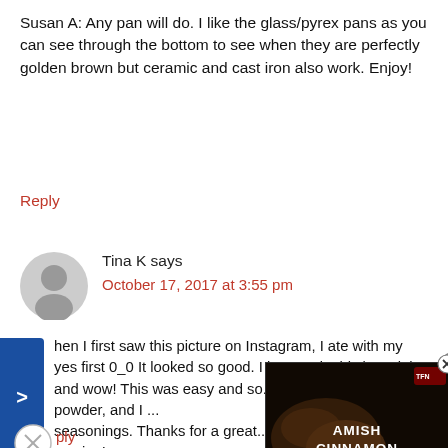Susan A: Any pan will do. I like the glass/pyrex pans as you can see through the bottom to see when they are perfectly golden brown but ceramic and cast iron also work. Enjoy!
Reply
[Figure (illustration): Generic user avatar — grey silhouette of a person]
Tina K says
October 17, 2017 at 3:55 pm
hen I first saw this picture on Instagram, I ate with my yes first 0_0 It looked so good. I just made this last night, and wow! This was easy and so... garlic and onion powder, and I ... seasonings. Thanks for a great... coming!
[Figure (screenshot): Video popup overlay showing 'AMISH CINNAMON BREAD' with a play button, overlaid on the comment text]
ply